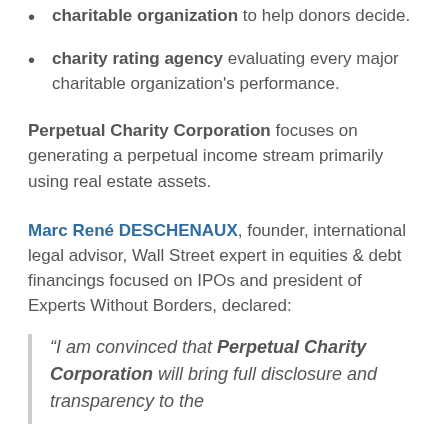charitable organization to help donors decide.
charity rating agency evaluating every major charitable organization's performance.
Perpetual Charity Corporation focuses on generating a perpetual income stream primarily using real estate assets.
Marc René DESCHENAUX, founder, international legal advisor, Wall Street expert in equities & debt financings focused on IPOs and president of Experts Without Borders, declared:
“I am convinced that Perpetual Charity Corporation will bring full disclosure and transparency to the